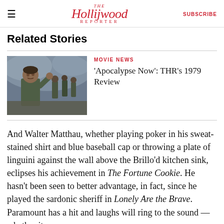The Hollywood Reporter | SUBSCRIBE
Related Stories
[Figure (photo): Film still from Apocalypse Now showing soldiers in a smoky battlefield scene, with a man in foreground looking alarmed]
MOVIE NEWS
'Apocalypse Now': THR's 1979 Review
And Walter Matthau, whether playing poker in his sweat-stained shirt and blue baseball cap or throwing a plate of linguini against the wall above the Brillo'd kitchen sink, eclipses his achievement in The Fortune Cookie. He hasn't been seen to better advantage, in fact, since he played the sardonic sheriff in Lonely Are the Brave. Paramount has a hit and laughs will ring to the sound — whether its an